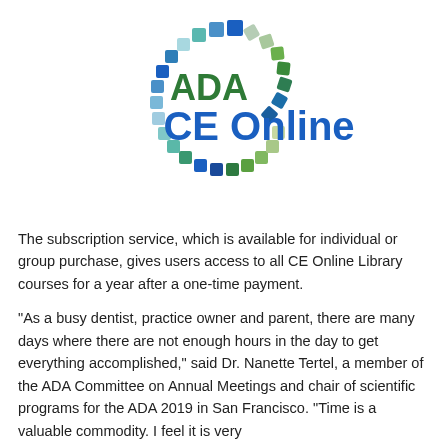[Figure (logo): ADA CE Online logo: a circular arc made of multicolored tiled segments (green, teal, blue, light blue, light green shades) arranged in a C-shape, with 'ADA' in green bold text and 'CE Online' in bold blue text at center-right.]
The subscription service, which is available for individual or group purchase, gives users access to all CE Online Library courses for a year after a one-time payment.
“As a busy dentist, practice owner and parent, there are many days where there are not enough hours in the day to get everything accomplished,” said Dr. Nanette Tertel, a member of the ADA Committee on Annual Meetings and chair of scientific programs for the ADA 2019 in San Francisco. “Time is a valuable commodity. I feel it is very